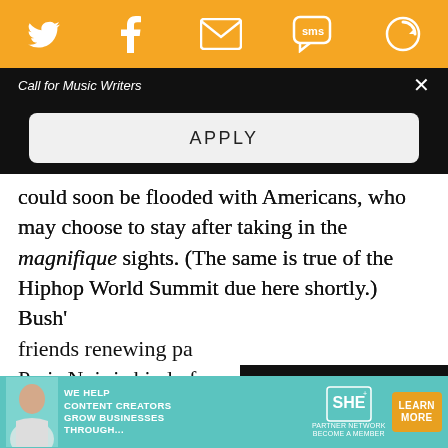[Figure (screenshot): Orange top navigation bar with social media icons: Twitter bird, Facebook f, email envelope, SMS speech bubble, and a circular arrow/refresh icon, all white on orange background]
Call for Music Writers
APPLY
could soon be flooded with Americans, who may choose to stay after taking in the magnifique sights. (The same is true of the Hiphop World Summit due here shortly.) Bush's reelection already has my friends renewing pa... Paris Noir is kind of a... "Why Paris?" questi... often a way for peop...
[Figure (screenshot): Loading ad overlay with dark background showing 'Loading ad' text, a spinning circle loader icon, and media controls (pause button, expand button, mute button)]
[Figure (screenshot): Bottom banner advertisement: teal background with photo of woman, text 'WE HELP CONTENT CREATORS GROW BUSINESSES THROUGH...', SHE Partner Network logo, and orange 'LEARN MORE' button]